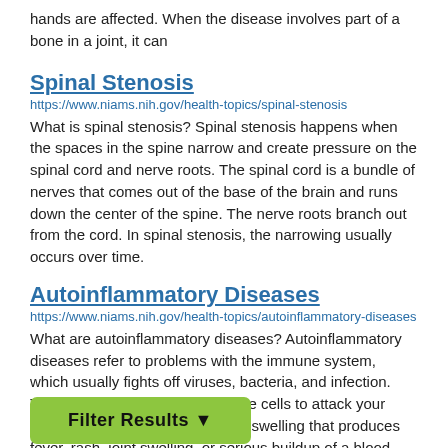hands are affected. When the disease involves part of a bone in a joint, it can
Spinal Stenosis
https://www.niams.nih.gov/health-topics/spinal-stenosis
What is spinal stenosis? Spinal stenosis happens when the spaces in the spine narrow and create pressure on the spinal cord and nerve roots. The spinal cord is a bundle of nerves that comes out of the base of the brain and runs down the center of the spine. The nerve roots branch out from the cord. In spinal stenosis, the narrowing usually occurs over time.
Autoinflammatory Diseases
https://www.niams.nih.gov/health-topics/autoinflammatory-diseases
What are autoinflammatory diseases? Autoinflammatory diseases refer to problems with the immune system, which usually fights off viruses, bacteria, and infection. The problem causes your immune cells to attack your body by mistake. This can cause swelling that produces fever, rash, joint swelling, or serious buildup of a blood protein in your organs.
Filter Results